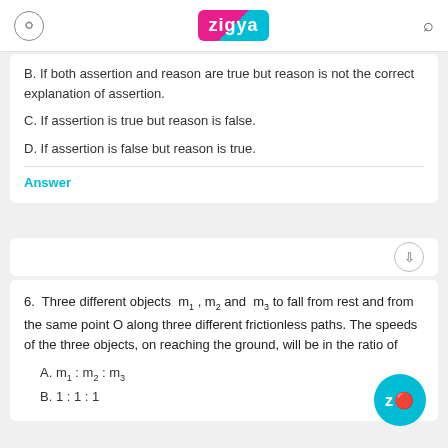Zigya
B. If both assertion and reason are true but reason is not the correct explanation of assertion.
C. If assertion is true but reason is false.
D. If assertion is false but reason is true.
Answer
6.  Three different objects m1, m2 and m3 to fall from rest and from the same point O along three different frictionless paths. The speeds of the three objects, on reaching the ground, will be in the ratio of
A. m1 : m2 : m3
B. 1 : 1 : 1